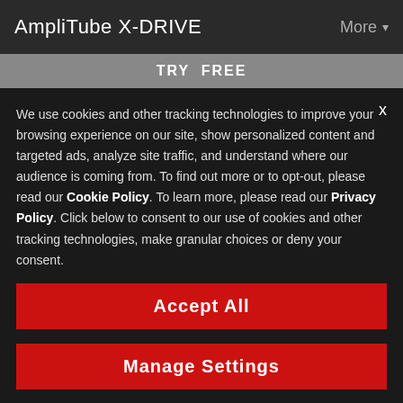AmpliTube X-DRIVE    More ▾
TRY  FREE
We use cookies and other tracking technologies to improve your browsing experience on our site, show personalized content and targeted ads, analyze site traffic, and understand where our audience is coming from. To find out more or to opt-out, please read our Cookie Policy. To learn more, please read our Privacy Policy. Click below to consent to our use of cookies and other tracking technologies, make granular choices or deny your consent.
Accept All
Manage Settings
SPECIAL OFFERS    Deny All    THIS MONTH